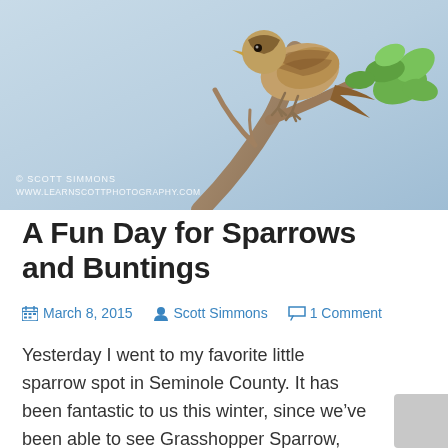[Figure (photo): A sparrow perched on a branch with green leaves against a light blue sky background. Photo credit: © Scott Simmons, www.learnscottphotography.com]
A Fun Day for Sparrows and Buntings
March 8, 2015   Scott Simmons   1 Comment
Yesterday I went to my favorite little sparrow spot in Seminole County. It has been fantastic to us this winter, since we've been able to see Grasshopper Sparrow, Vesper Sparrow, Song Sparrow, White-crowned Sparrow, Lincoln's